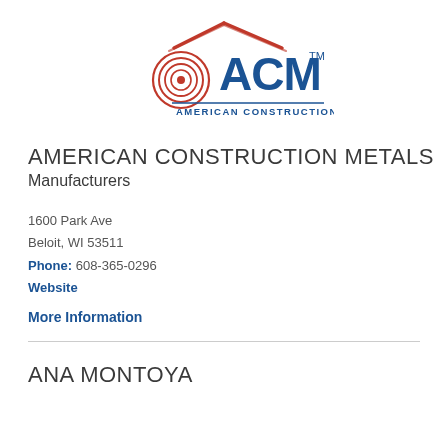[Figure (logo): ACM American Construction Metals logo with red roof/circle graphic and blue text]
AMERICAN CONSTRUCTION METALS
Manufacturers
1600 Park Ave
Beloit, WI 53511
Phone: 608-365-0296
Website
More Information
ANA MONTOYA